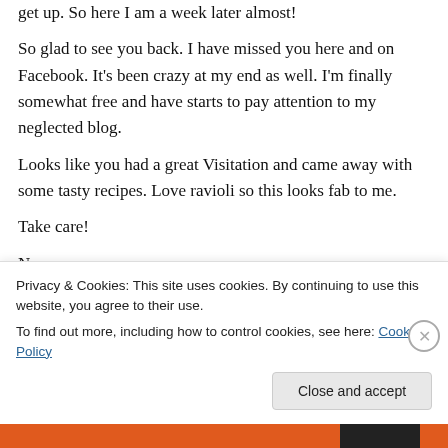get up. So here I am a week later almost!
So glad to see you back. I have missed you here and on Facebook. It's been crazy at my end as well. I'm finally somewhat free and have starts to pay attention to my neglected blog.
Looks like you had a great Visitation and came away with some tasty recipes. Love ravioli so this looks fab to me.
Take care!
Nazneen
Like
Privacy & Cookies: This site uses cookies. By continuing to use this website, you agree to their use.
To find out more, including how to control cookies, see here: Cookie Policy
Close and accept